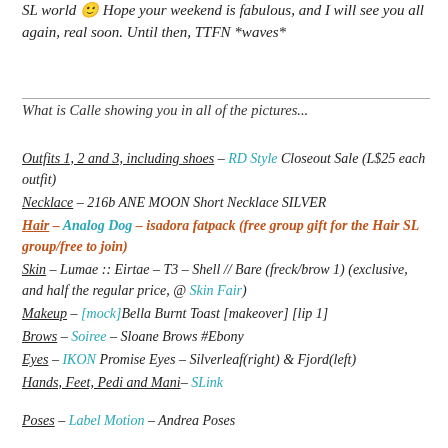SL world 🙂 Hope your weekend is fabulous, and I will see you all again, real soon. Until then, TTFN *waves*
What is Calle showing you in all of the pictures...
Outfits 1, 2 and 3, including shoes – RD Style Closeout Sale (L$25 each outfit)
Necklace – 216b ANE MOON Short Necklace SILVER
Hair – Analog Dog – isadora fatpack (free group gift for the Hair SL group/free to join)
Skin – Lumae :: Eirtae – T3 – Shell // Bare (freck/brow 1) (exclusive, and half the regular price, @ Skin Fair)
Makeup – [mock]Bella Burnt Toast [makeover] [lip 1]
Brows – Soiree – Sloane Brows #Ebony
Eyes – IKON Promise Eyes – Silverleaf(right) & Fjord(left)
Hands, Feet, Pedi and Mani– SLink
Poses – Label Motion – Andrea Poses